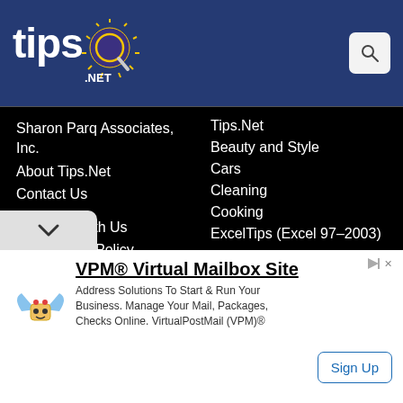tips.NET
Sharon Parq Associates, Inc.
About Tips.Net
Contact Us
Advertise with Us
Our Privacy Policy
Author Index
Tips.Net
Beauty and Style
Cars
Cleaning
Cooking
ExcelTips (Excel 97–2003)
ExcelTips (Excel 2007–2019; 365)
Gardening
Health
[Figure (infographic): VPM Virtual Mailbox Site advertisement with winged mascot logo, Sign Up button]
VPM® Virtual Mailbox Site. Address Solutions To Start & Run Your Business. Manage Your Mail, Packages, Checks Online. VirtualPostMail (VPM)®